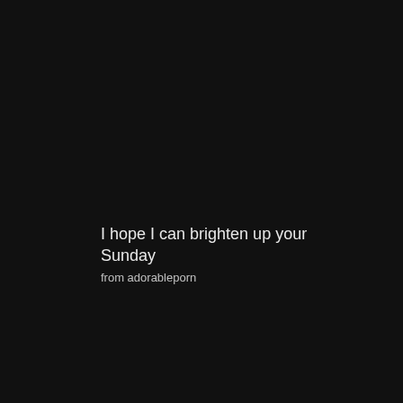I hope I can brighten up your Sunday
from adorableporn